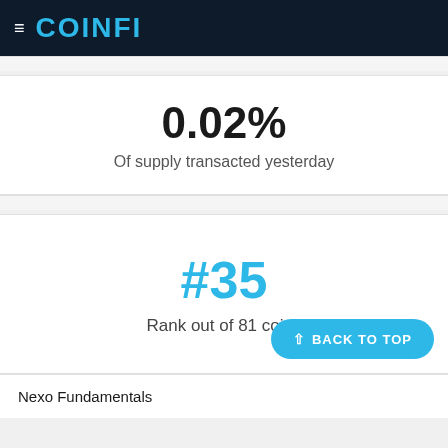COINFI
0.02%
Of supply transacted yesterday
#35
Rank out of 81 coins
^ BACK TO TOP
Nexo Fundamentals